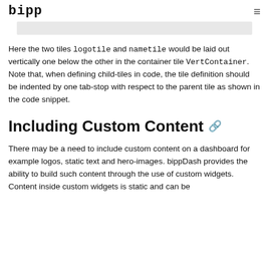bipp
[Figure (screenshot): Gray bar placeholder image area]
Here the two tiles logotile and nametile would be laid out vertically one below the other in the container tile VertContainer. Note that, when defining child-tiles in code, the tile definition should be indented by one tab-stop with respect to the parent tile as shown in the code snippet.
Including Custom Content
There may be a need to include custom content on a dashboard for example logos, static text and hero-images. bippDash provides the ability to build such content through the use of custom widgets. Content inside custom widgets is static and can be